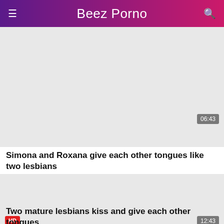Beez Porno
[Figure (other): Video thumbnail placeholder, gray rectangle, with timestamp badge 06:43]
Simona and Roxana give each other tongues like two lesbians
[Figure (other): Video thumbnail placeholder, gray rectangle, with HD badge and timestamp badge 12:43]
Two mature lesbians kiss and give each other tongues